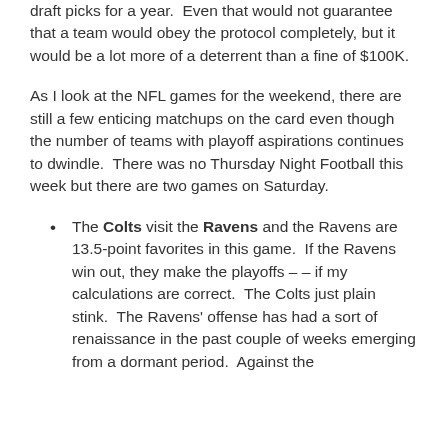draft picks for a year.  Even that would not guarantee that a team would obey the protocol completely, but it would be a lot more of a deterrent than a fine of $100K.
As I look at the NFL games for the weekend, there are still a few enticing matchups on the card even though the number of teams with playoff aspirations continues to dwindle.  There was no Thursday Night Football this week but there are two games on Saturday.
The Colts visit the Ravens and the Ravens are 13.5-point favorites in this game.  If the Ravens win out, they make the playoffs – – if my calculations are correct.  The Colts just plain stink.  The Ravens' offense has had a sort of renaissance in the past couple of weeks emerging from a dormant period.  Against the